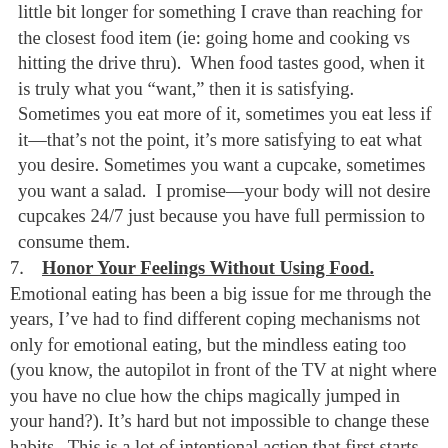little bit longer for something I crave than reaching for the closest food item (ie: going home and cooking vs hitting the drive thru). When food tastes good, when it is truly what you “want,” then it is satisfying. Sometimes you eat more of it, sometimes you eat less if it—that’s not the point, it’s more satisfying to eat what you desire. Sometimes you want a cupcake, sometimes you want a salad. I promise—your body will not desire cupcakes 24/7 just because you have full permission to consume them.
7. Honor Your Feelings Without Using Food. Emotional eating has been a big issue for me through the years, I’ve had to find different coping mechanisms not only for emotional eating, but the mindless eating too (you know, the autopilot in front of the TV at night where you have no clue how the chips magically jumped in your hand?). It’s hard but not impossible to change these habits. This is a lot of intentional action that first starts with awareness